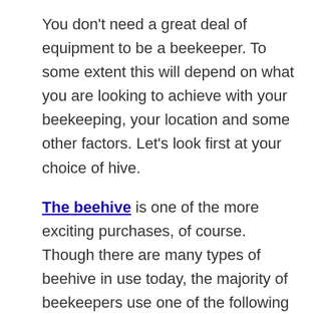You don't need a great deal of equipment to be a beekeeper. To some extent this will depend on what you are looking to achieve with your beekeeping, your location and some other factors. Let's look first at your choice of hive.
The beehive is one of the more exciting purchases, of course. Though there are many types of beehive in use today, the majority of beekeepers use one of the following types: